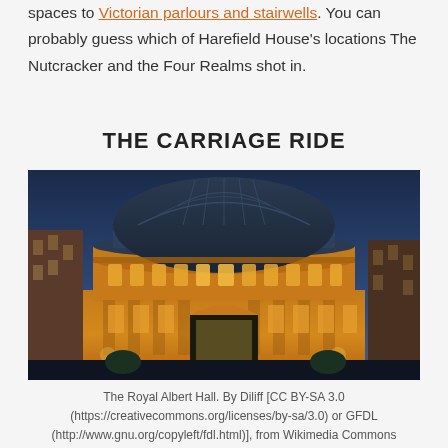spaces to Victorian parlours and stairwells. You can probably guess which of Harefield House's locations The Nutcracker and the Four Realms shot in.
THE CARRIAGE RIDE
[Figure (photo): The Royal Albert Hall illuminated at dusk/night, showing its iconic circular brick building with glass dome roof, lit up in warm golden light against a blue twilight sky.]
The Royal Albert Hall. By Diliff [CC BY-SA 3.0 (https://creativecommons.org/licenses/by-sa/3.0) or GFDL (http://www.gnu.org/copyleft/fdl.html)], from Wikimedia Commons